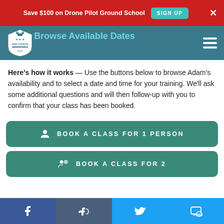Save $100 on Drone Pilot Ground School  SIGN UP  ×
Browse Available Dates
Here's how it works — Use the buttons below to browse Adam's availability and to select a date and time for your training. We'll ask some additional questions and will then follow-up with you to confirm that your class has been booked.
BOOK A CLASS FOR 1 PERSON
BOOK A CLASS FOR 2
Facebook  Like  Twitter  Message